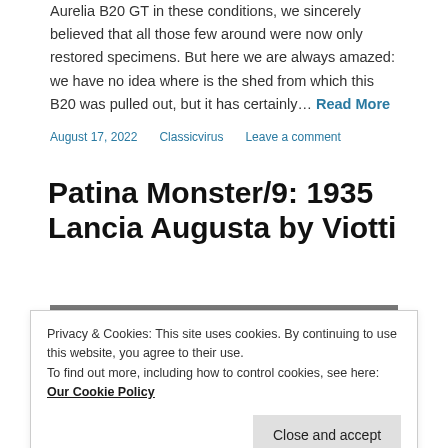Aurelia B20 GT in these conditions, we sincerely believed that all those few around were now only restored specimens. But here we are always amazed: we have no idea where is the shed from which this B20 was pulled out, but it has certainly… Read More
August 17, 2022   Classicvirus   Leave a comment
Patina Monster/9: 1935 Lancia Augusta by Viotti
[Figure (photo): Partial photograph of a 1935 Lancia Augusta car, showing dark vintage automobile bodywork]
Privacy & Cookies: This site uses cookies. By continuing to use this website, you agree to their use.
To find out more, including how to control cookies, see here: Our Cookie Policy